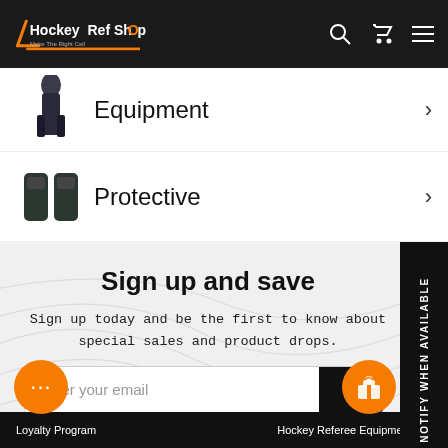Hockey Ref Shop - Make The Right Call
Equipment
Protective
Sign up and save
Sign up today and be the first to know about special sales and product drops.
Enter your email
NOTIFY WHEN AVAILABLE
Loyalty Program    Hockey Referee Equipment List